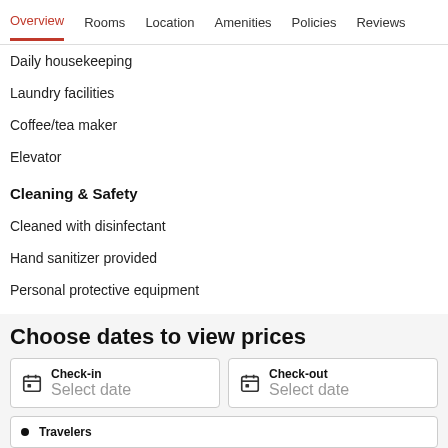Overview  Rooms  Location  Amenities  Policies  Reviews
Daily housekeeping
Laundry facilities
Coffee/tea maker
Elevator
Cleaning & Safety
Cleaned with disinfectant
Hand sanitizer provided
Personal protective equipment
Social distancing
Choose dates to view prices
Check-in — Select date
Check-out — Select date
Travelers